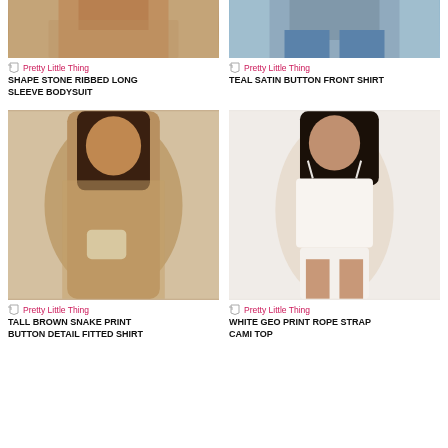[Figure (photo): Cropped bottom of model wearing stone ribbed bodysuit]
[Figure (photo): Cropped bottom of model wearing teal satin shirt with jeans]
Pretty Little Thing
Pretty Little Thing
SHAPE STONE RIBBED LONG SLEEVE BODYSUIT
TEAL SATIN BUTTON FRONT SHIRT
[Figure (photo): Model wearing tall brown snake print button detail fitted shirt dress with beige bag]
[Figure (photo): Model wearing white geo print rope strap cami top with white shorts]
Pretty Little Thing
Pretty Little Thing
TALL BROWN SNAKE PRINT BUTTON DETAIL FITTED SHIRT
WHITE GEO PRINT ROPE STRAP CAMI TOP